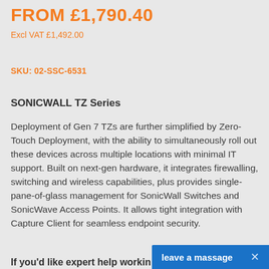FROM £1,790.40
Excl VAT £1,492.00
SKU: 02-SSC-6531
SONICWALL TZ Series
Deployment of Gen 7 TZs are further simplified by Zero-Touch Deployment, with the ability to simultaneously roll out these devices across multiple locations with minimal IT support. Built on next-gen hardware, it integrates firewalling, switching and wireless capabilities, plus provides single-pane-of-glass management for SonicWall Switches and SonicWave Access Points. It allows tight integration with Capture Client for seamless endpoint security.
If you'd like expert help workin...
leave a message